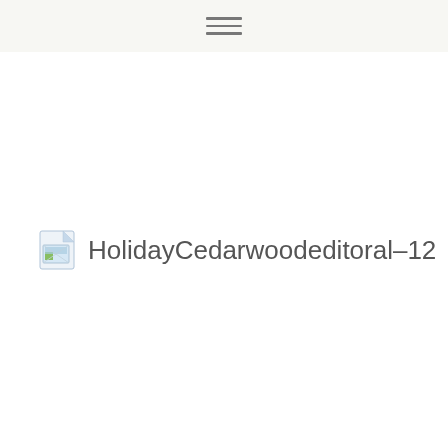[Figure (illustration): Broken image placeholder icon followed by text label 'HolidayCedarwoodeditoral-12']